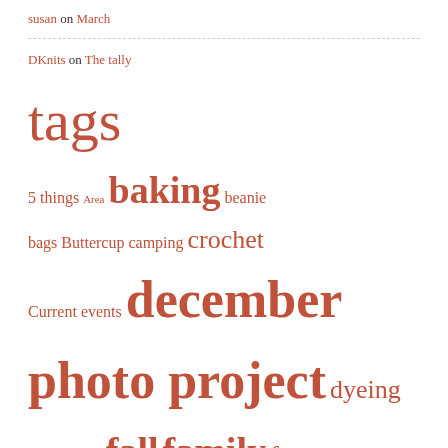susan on March
DKnits on The tally
tags
5 things Area baking beanie bags Buttercup camping crochet Current events december photo project dyeing embroidery fall family farm dreaming food garden gifts handmade wardrobe holidays home homebrewing knitting less link love